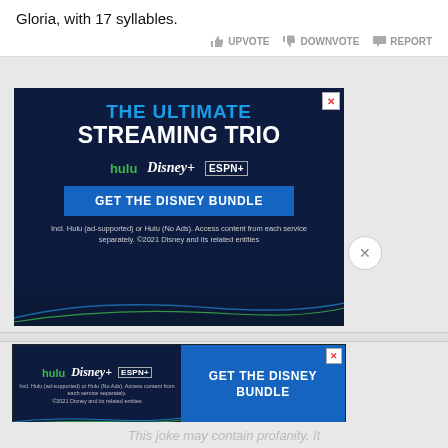Gloria, with 17 syllables.
UPVOTE   DOWNVOTE   REPORT
[Figure (screenshot): Large Disney Bundle advertisement on dark navy background. Headline reads 'THE ULTIMATE STREAMING TRIO'. Logos for Hulu, Disney+, ESPN+. Button saying 'GET THE DISNEY BUNDLE'. Fine print: 'Incl. Hulu (ad-supported) or Hulu (No Ads). Access content from each service separately. ©2021 Disney and its related entities']
[Figure (screenshot): Small Disney Bundle advertisement banner. Left side dark navy with Hulu, Disney+, ESPN+ logos. Right side blue with 'GET THE DISNEY BUNDLE' text. Fine print below logos.]
This joke may contain profanity. It